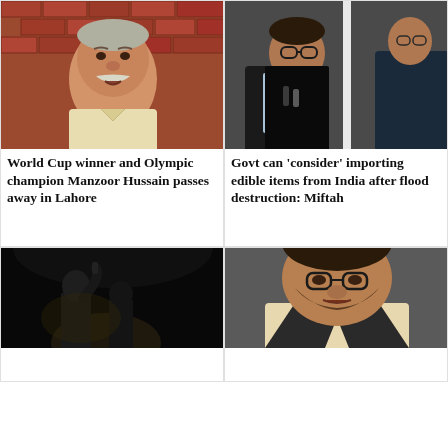[Figure (photo): Elderly man with white mustache speaking, brick wall background]
[Figure (photo): Two men at a press conference, one speaking into microphones, dark background]
World Cup winner and Olympic champion Manzoor Hussain passes away in Lahore
Govt can 'consider' importing edible items from India after flood destruction: Miftah
[Figure (photo): Person speaking on a dark stage with microphone, spotlight from below]
[Figure (photo): Close-up of a man with glasses and beard looking forward]